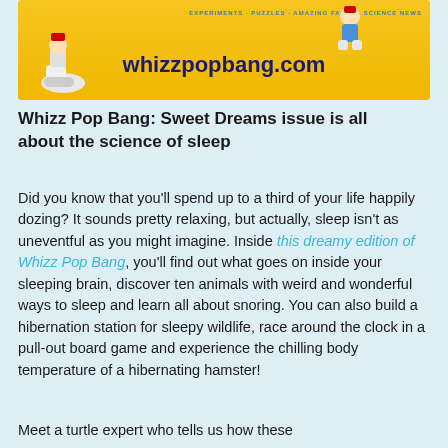[Figure (photo): Whizz Pop Bang magazine promotional banner with yellow background, mascot characters, and the URL whizzpopbang.com]
Whizz Pop Bang: Sweet Dreams issue is all about the science of sleep
Did you know that you'll spend up to a third of your life happily dozing? It sounds pretty relaxing, but actually, sleep isn't as uneventful as you might imagine. Inside this dreamy edition of Whizz Pop Bang, you'll find out what goes on inside your sleeping brain, discover ten animals with weird and wonderful ways to sleep and learn all about snoring. You can also build a hibernation station for sleepy wildlife, race around the clock in a pull-out board game and experience the chilling body temperature of a hibernating hamster!
Meet a turtle expert who tells us how these